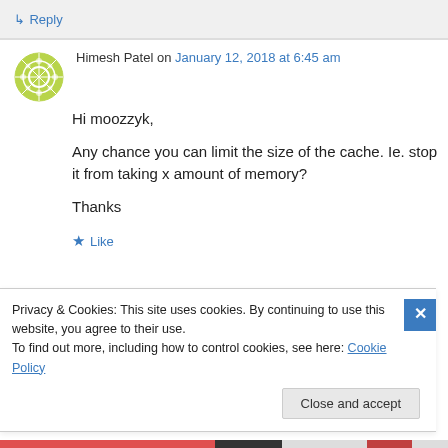↳ Reply
Himesh Patel on January 12, 2018 at 6:45 am
Hi moozzyk,

Any chance you can limit the size of the cache. Ie. stop it from taking x amount of memory?

Thanks
★ Like
Privacy & Cookies: This site uses cookies. By continuing to use this website, you agree to their use.
To find out more, including how to control cookies, see here: Cookie Policy
Close and accept